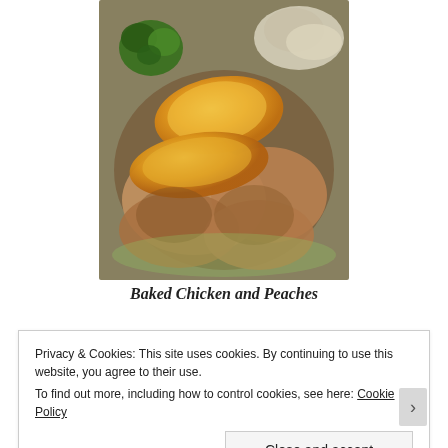[Figure (photo): A plate of baked chicken pieces topped with peach slices, served alongside broccoli and cauliflower on a green plate.]
Baked Chicken and Peaches
Privacy & Cookies: This site uses cookies. By continuing to use this website, you agree to their use.
To find out more, including how to control cookies, see here: Cookie Policy
Close and accept